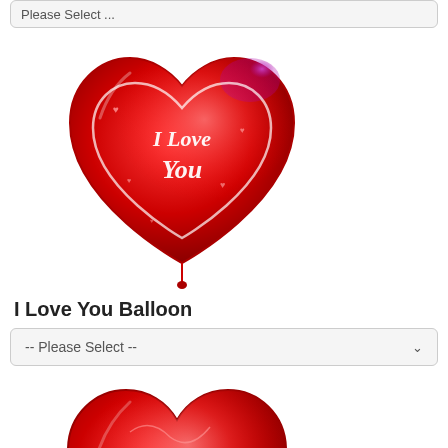[Figure (screenshot): Partial dropdown select box at top of page showing '-- Please Select --' text]
[Figure (photo): Red heart-shaped foil balloon with 'I Love You' written in white cursive script, with small pink hearts decoration]
I Love You Balloon
[Figure (screenshot): Dropdown select box with '-- Please Select --' placeholder and chevron arrow]
[Figure (photo): Red heart-shaped foil balloon with 'Happy Valentine's Day' written in white cursive script with decorative hearts]